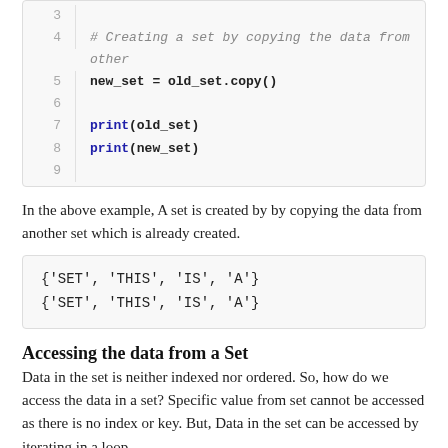[Figure (screenshot): Code block showing lines 3-9 of Python code. Line 4 is a comment '# Creating a set by copying the data from other', line 5 is 'new_set = old_set.copy()', lines 7-8 use print statements.]
In the above example, A set is created by by copying the data from another set which is already created.
[Figure (screenshot): Output block showing two lines: {'SET', 'THIS', 'IS', 'A'} and {'SET', 'THIS', 'IS', 'A'}]
Accessing the data from a Set
Data in the set is neither indexed nor ordered. So, how do we access the data in a set? Specific value from set cannot be accessed as there is no index or key. But, Data in the set can be accessed by iterating in a loop.